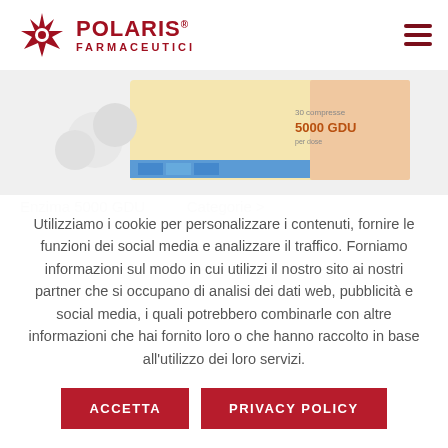[Figure (logo): Polaris Farmaceutici logo with red snowflake/star icon and red bold text POLARIS FARMACEUTICI]
[Figure (photo): Product packaging photo showing a pharmaceutical box labeled 5000 GDU per dose, yellow and cream colored box with blue stripe]
Utilizziamo i cookie per personalizzare i contenuti, fornire le funzioni dei social media e analizzare il traffico. Forniamo informazioni sul modo in cui utilizzi il nostro sito ai nostri partner che si occupano di analisi dei dati web, pubblicità e social media, i quali potrebbero combinarle con altre informazioni che hai fornito loro o che hanno raccolto in base all'utilizzo dei loro servizi.
ACCETTA
PRIVACY POLICY